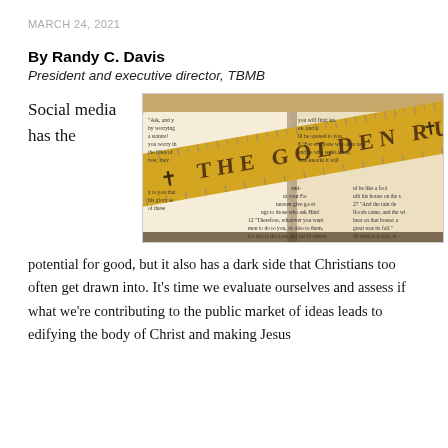MARCH 24, 2021
By Randy C. Davis
President and executive director, TBMB
Social media has the
[Figure (photo): An open Bible with a wooden ruler on top that reads 'THE GOLDEN RULE'. Bible verses are visible including Matthew 7:12 'Therefore, whatever you want men to do to you, do also to them, for this is the Law and the Prophets.']
potential for good, but it also has a dark side that Christians too often get drawn into. It's time we evaluate ourselves and assess if what we're contributing to the public market of ideas leads to edifying the body of Christ and making Jesus attractive spiritually, but more on The Golden Rule is till...